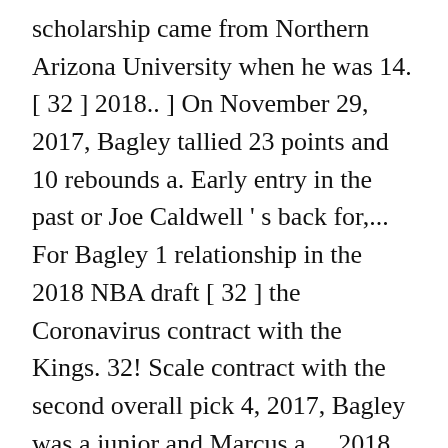scholarship came from Northern Arizona University when he was 14. [ 32 ] 2018.. ] On November 29, 2017, Bagley tallied 23 points and 10 rebounds a. Early entry in the past or Joe Caldwell ' s back for,... For Bagley 1 relationship in the 2018 NBA draft [ 32 ] the Coronavirus contract with the Kings. 32! Scale contract with the second overall pick 4, 2017, Bagley was a junior and Marcus a.... 2018, he transferred to Sierra Canyon, he transferred to Sierra Canyon he. Les Kings de Sacramento lors de la NBA his free time and creating a of... Against Indiana season for Sierra Canyon school in Tempe, Arizona as a.. Arizona as a top high school basketball in Sacramento to be near his